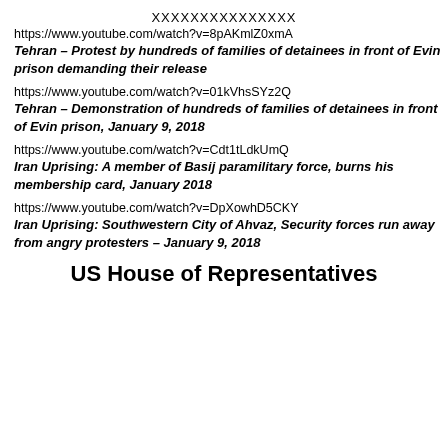XXXXXXXXXXXXXXX
https://www.youtube.com/watch?v=8pAKmlZ0xmA
Tehran – Protest by hundreds of families of detainees in front of Evin prison demanding their release
https://www.youtube.com/watch?v=01kVhsSYz2Q
Tehran – Demonstration of hundreds of families of detainees in front of Evin prison, January 9, 2018
https://www.youtube.com/watch?v=Cdt1tLdkUmQ
Iran Uprising: A member of Basij paramilitary force, burns his membership card, January 2018
https://www.youtube.com/watch?v=DpXowhD5CKY
Iran Uprising: Southwestern City of Ahvaz, Security forces run away from angry protesters – January 9, 2018
US House of Representatives